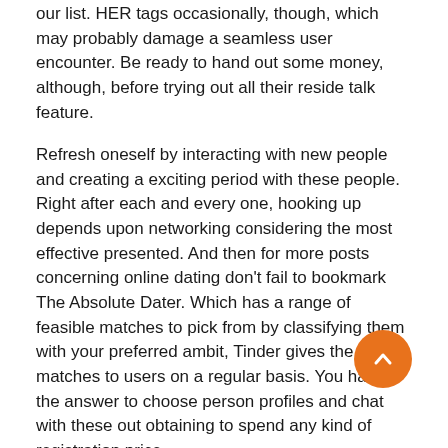our list. HER tags occasionally, though, which may probably damage a seamless user encounter. Be ready to hand out some money, although, before trying out all their reside talk feature.
Refresh oneself by interacting with new people and creating a exciting period with these people. Right after each and every one, hooking up depends upon networking considering the most effective presented. And then for more posts concerning online dating don't fail to bookmark The Absolute Dater. Which has a range of feasible matches to pick from by classifying them with your preferred ambit, Tinder gives the right matches to users on a regular basis. You have the answer to choose person profiles and chat with these out obtaining to spend any kind of registration price.
Finest Get together And Mature Dating Websites: Ultimate Get together Web Site List
They then speak to their targets and sweet-speak them,